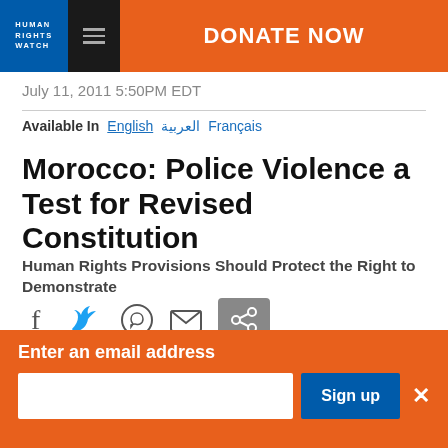[Figure (logo): Human Rights Watch logo — blue square with HRW text, hamburger menu, orange DONATE NOW button]
July 11, 2011 5:50PM EDT
Available In   English   العربية   Français
Morocco: Police Violence a Test for Revised Constitution
Human Rights Provisions Should Protect the Right to Demonstrate
[Figure (infographic): Social share icons: Facebook, Twitter, WhatsApp, Email, Share button]
Enter an email address
Sign up